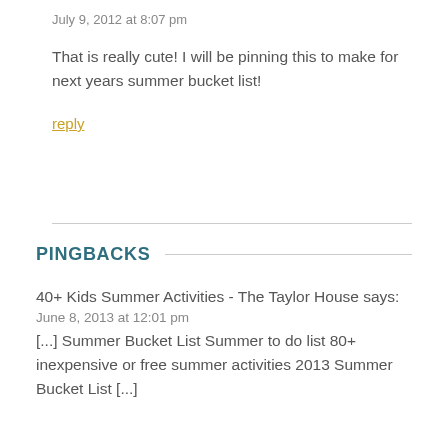July 9, 2012 at 8:07 pm
That is really cute! I will be pinning this to make for next years summer bucket list!
reply
PINGBACKS
40+ Kids Summer Activities - The Taylor House says:
June 8, 2013 at 12:01 pm
[...] Summer Bucket List Summer to do list 80+ inexpensive or free summer activities 2013 Summer Bucket List [...]